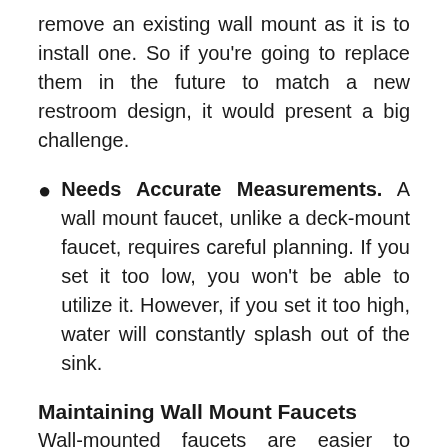remove an existing wall mount as it is to install one. So if you're going to replace them in the future to match a new restroom design, it would present a big challenge.
Needs Accurate Measurements. A wall mount faucet, unlike a deck-mount faucet, requires careful planning. If you set it too low, you won't be able to utilize it. However, if you set it too high, water will constantly splash out of the sink.
Maintaining Wall Mount Faucets
Wall-mounted faucets are easier to maintain than other types of faucets. Because they are placed above the sink, they will not require as much cleaning. Water tends to pool around faucets